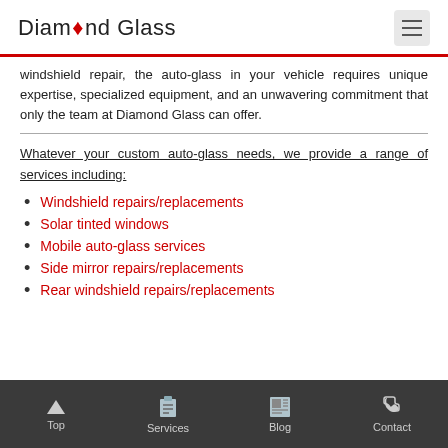Diamond Glass
windshield repair, the auto-glass in your vehicle requires unique expertise, specialized equipment, and an unwavering commitment that only the team at Diamond Glass can offer.
Whatever your custom auto-glass needs, we provide a range of services including:
Windshield repairs/replacements
Solar tinted windows
Mobile auto-glass services
Side mirror repairs/replacements
Rear windshield repairs/replacements
Top | Services | Blog | Contact